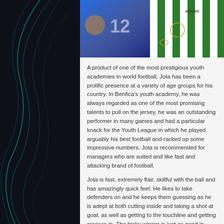[Figure (photo): Photo of a footballer wearing a green and white striped Celtic jersey with Adidas branding, with a blurred colorful background on the left side.]
A product of one of the most prestigious youth academies in world football, Jota has been a prolific presence at a variety of age groups for his country. In Benfica's youth academy, he was always regarded as one of the most promising talents to pull on the jersey, he was an outstanding performer in many games and had a particular knack for the Youth League in which he played arguably his best football and racked up some impressive numbers. Jota is recommended for managers who are suited and like fast and attacking brand of football.
Jota is fast, extremely flair, skillful with the ball and has amazingly quick feet. He likes to take defenders on and he keeps them guessing as he is adept at both cutting inside and taking a shot at goal, as well as getting to the touchline and getting crosses in. The tricky winger is just as good in Career Mode, 5* skill moves, 87 pace, 88 agility, 79 dribbling, 78 ball control, 72 crossing, 72 long shots and 71 finishing.